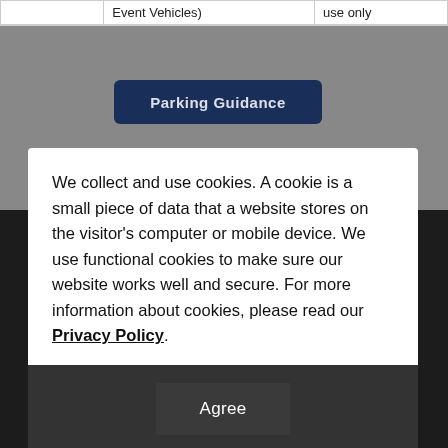|  | Event Vehicles) | use only |
[Figure (screenshot): Dark navy blue button labeled 'Parking Guidance' visible behind the cookie consent modal overlay]
We collect and use cookies. A cookie is a small piece of data that a website stores on the visitor's computer or mobile device. We use functional cookies to make sure our website works well and secure. For more information about cookies, please read our Privacy Policy.
Agree
06211 4F, 310 (Yeoksam-dong) Teheran-ro, Gangnam-gu Seoul TEL: +82-2-3014-5760 FAX: +82-2-556-2234 Email: ljw@kdia.org COPYRIGHT(C) K-Display 2022 Korea Display Exhibition ALL...